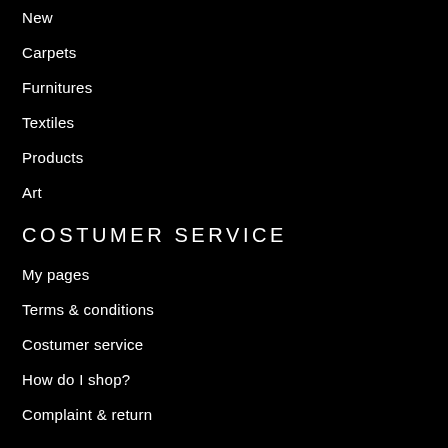New
Carpets
Furnitures
Textiles
Products
Art
COSTUMER SERVICE
My pages
Terms & conditions
Costumer service
How do I shop?
Complaint & return
FOLLOW US
[Figure (illustration): Instagram and Facebook social media icons (white circles with logos on black background)]